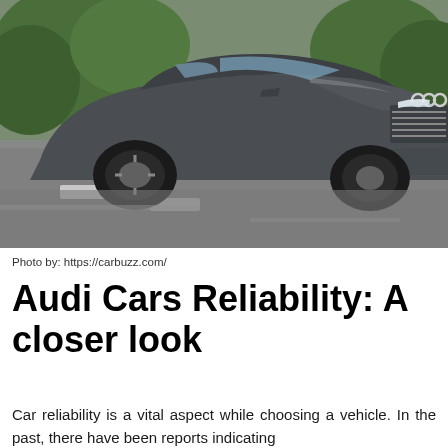[Figure (photo): A dark gray Audi car driving on a road, photographed from a front-left angle, showing the Audi logo on the grille and LED headlights. Green trees are visible in the background.]
Photo by: https://carbuzz.com/
Audi Cars Reliability: A closer look
Car reliability is a vital aspect while choosing a vehicle. In the past, there have been reports indicating